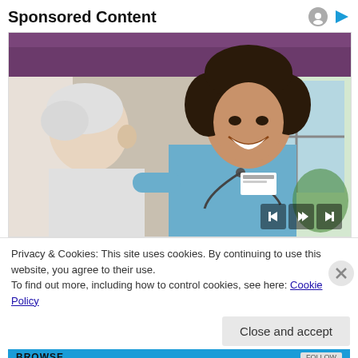Sponsored Content
[Figure (photo): A smiling female nurse in blue scrubs with a stethoscope sitting with an elderly male patient in a clinical/home care setting]
Privacy & Cookies: This site uses cookies. By continuing to use this website, you agree to their use.
To find out more, including how to control cookies, see here: Cookie Policy
Close and accept